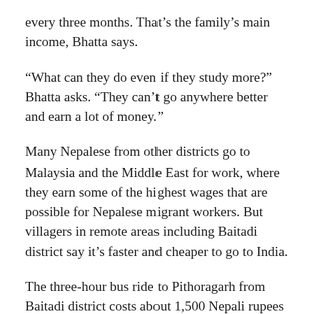every three months. That's the family's main income, Bhatta says.
“What can they do even if they study more?” Bhatta asks. “They can’t go anywhere better and earn a lot of money.”
Many Nepalese from other districts go to Malaysia and the Middle East for work, where they earn some of the highest wages that are possible for Nepalese migrant workers. But villagers in remote areas including Baitadi district say it’s faster and cheaper to go to India.
The three-hour bus ride to Pithoragarh from Baitadi district costs about 1,500 Nepali rupees ($14). The trip to Kathmandu, Nepal’s capital city, takes two days and costs about twice as much.
And the manpower agencies that recruit in other regions don’t seek workers in some of Nepal’s most